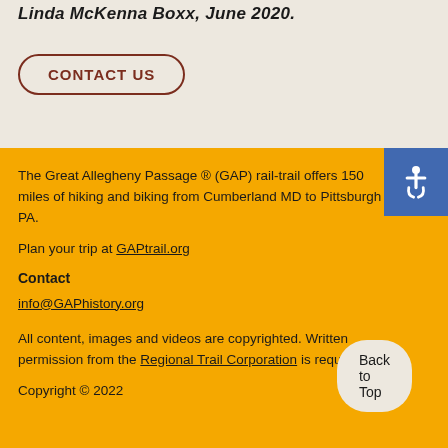Linda McKenna Boxx, June 2020.
CONTACT US
The Great Allegheny Passage ® (GAP) rail-trail offers 150 miles of hiking and biking from Cumberland MD to Pittsburgh PA.
Plan your trip at GAPtrail.org
Contact
info@GAPhistory.org
All content, images and videos are copyrighted. Written permission from the Regional Trail Corporation is required.
Copyright © 2022
Back to Top